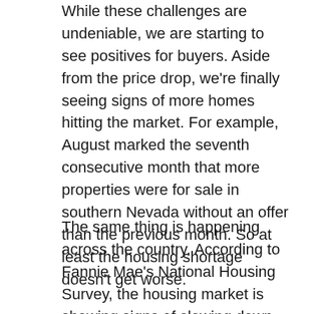While these challenges are undeniable, we are starting to see positives for buyers. Aside from the price drop, we're finally seeing signs of more homes hitting the market. For example, August marked the seventh consecutive month that more properties were for sale in southern Nevada without an offer than the previous month. So at least the housing shortage doesn't get worse.
The same thing is happening across the country. According to Fannie Mae's National Housing Survey, the housing market is showing signs of slowing down across the country, making buyers more optimistic. In August, 32% of consumers said it was a good time to buy a home. That's up from 28% in July, according to a survey of 1,000 American adults. This marks the first sign of